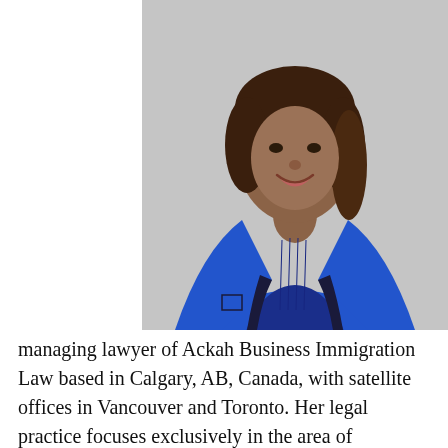[Figure (photo): Professional headshot of a woman wearing a bright blue blazer over a dark blue top, smiling, with shoulder-length brown hair, against a light gray background.]
managing lawyer of Ackah Business Immigration Law based in Calgary, AB, Canada, with satellite offices in Vancouver and Toronto. Her legal practice focuses exclusively in the area of Canadian and cross-border US immigration law. The firm embodies her